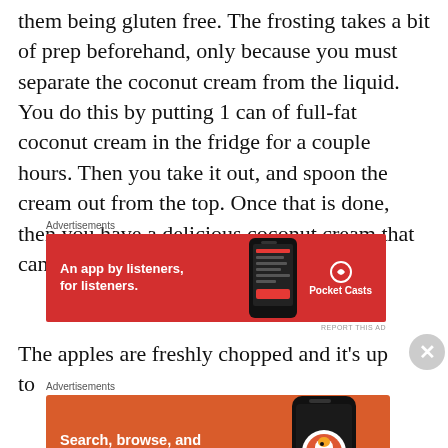them being gluten free. The frosting takes a bit of prep beforehand, only because you must separate the coconut cream from the liquid. You do this by putting 1 can of full-fat coconut cream in the fridge for a couple hours. Then you take it out, and spoon the cream out from the top. Once that is done, then you have a delicious coconut cream that can be used for frosting!
[Figure (screenshot): Pocket Casts advertisement banner: red background with text 'An app by listeners, for listeners.' and Pocket Casts logo with phone graphic]
The apples are freshly chopped and it's up to
[Figure (screenshot): DuckDuckGo advertisement banner: orange background with text 'Search, browse, and email with more privacy.' and 'All in One Free App' button, DuckDuckGo logo and phone graphic]